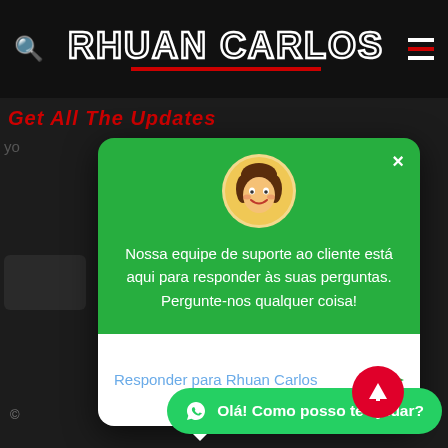[Figure (screenshot): Screenshot of a website with a dark background. Shows 'Rhuan Carlos' in the navigation bar with a search icon and hamburger menu. A green chat support popup is visible with an avatar, support message in Portuguese, and a reply input field. A WhatsApp chat button and red scroll-up button appear at the bottom.]